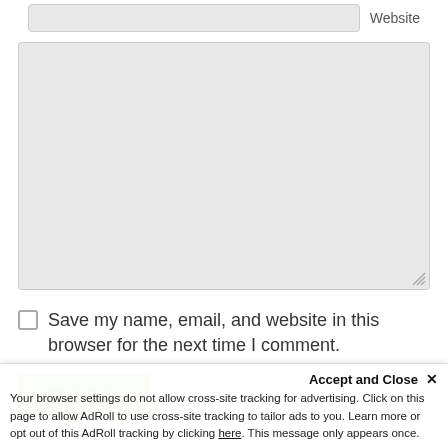[Figure (screenshot): Website input field partially visible at top of page]
[Figure (screenshot): Large textarea comment input box with resize handle]
Save my name, email, and website in this browser for the next time I comment.
[Figure (screenshot): Green Publish button]
Join Our Newsletter
[Figure (screenshot): Email input field for newsletter signup]
[Figure (screenshot): Subscribe button partially visible]
Accept and Close ✕
Your browser settings do not allow cross-site tracking for advertising. Click on this page to allow AdRoll to use cross-site tracking to tailor ads to you. Learn more or opt out of this AdRoll tracking by clicking here. This message only appears once.